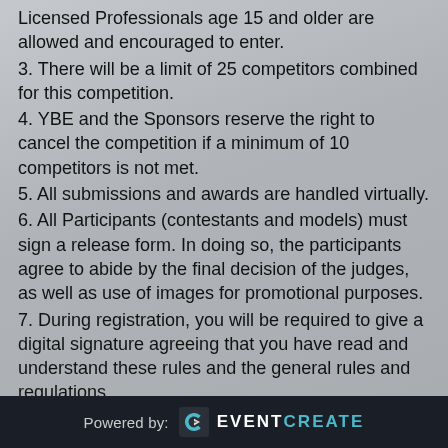Licensed Professionals age 15 and older are allowed and encouraged to enter.
3. There will be a limit of 25 competitors combined for this competition.
4. YBE and the Sponsors reserve the right to cancel the competition if a minimum of 10 competitors is not met.
5. All submissions and awards are handled virtually.
6. All Participants (contestants and models) must sign a release form. In doing so, the participants agree to abide by the final decision of the judges, as well as use of images for promotional purposes.
7. During registration, you will be required to give a digital signature agreeing that you have read and understand these rules and the general rules and regulations.
8. Virtual contestants must submit videos for each category entered… video must inclu…
Powered by: EVENTCREATE